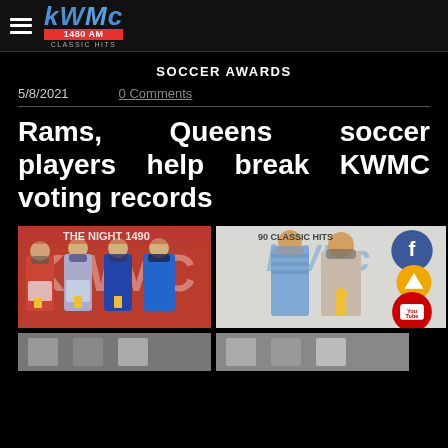KWMC 1480 AM Classic Hits
SOCCER AWARDS
5/8/2021   0 Comments
Rams, Queens soccer players help break KWMC voting records
[Figure (photo): Group of people wearing masks holding trophies in front of KWMC radio station backdrop]
[Figure (photo): Two people wearing masks holding a trophy in front of KWMC radio station backdrop with social media icons overlay (Facebook, YouTube)]
[Figure (photo): Partial thumbnail photo at bottom left]
[Figure (photo): Partial thumbnail photo at bottom right]